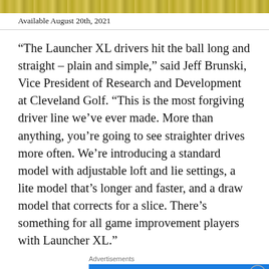[Figure (photo): Decorative image strip showing a golden/green grassy or textured background at the top of the page]
Available August 20th, 2021
“The Launcher XL drivers hit the ball long and straight – plain and simple,” said Jeff Brunski, Vice President of Research and Development at Cleveland Golf. “This is the most forgiving driver line we’ve ever made. More than anything, you’re going to see straighter drives more often. We’re introducing a standard model with adjustable loft and lie settings, a lite model that’s longer and faster, and a draw model that corrects for a slice. There’s something for all game improvement players with Launcher XL.”
Advertisements
[Figure (screenshot): Blue advertisement banner reading 'Need Speed?' with a figure/person on the right side]
Advertisements